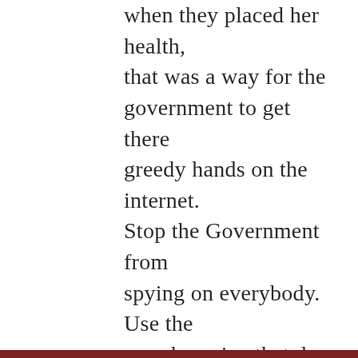when they placed her health, that was a way for the government to get there greedy hands on the internet. Stop the Government from spying on everybody. Use the search engine that does not change its results for political reasons and respects your privacy, just good old fashion results that are not tracked. Lookseek.com Have a great day